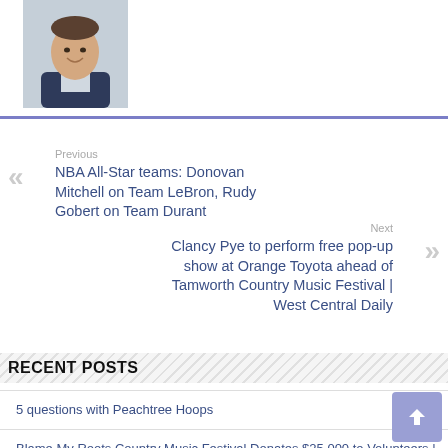[Figure (photo): Headshot of a smiling man in a suit, upper body, against a blurred background]
Previous
NBA All-Star teams: Donovan Mitchell on Team LeBron, Rudy Gobert on Team Durant
Next
Clancy Pye to perform free pop-up show at Orange Toyota ahead of Tamworth Country Music Festival | West Central Daily
RECENT POSTS
5 questions with Peachtree Hoops
Blame My Roots Country Music Festival Donates $25,000 to Volunteers | News, Sports, Jobs
Pounding the Rock Basketball Terminology Quiz: Part IV